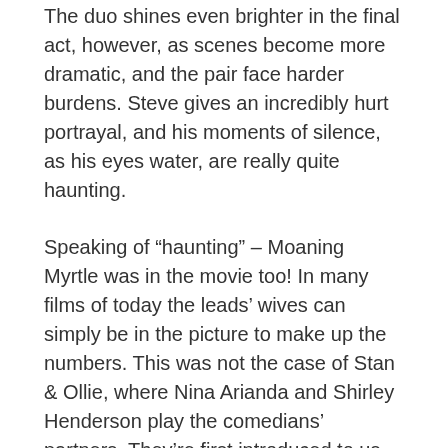The duo shines even brighter in the final act, however, as scenes become more dramatic, and the pair face harder burdens. Steve gives an incredibly hurt portrayal, and his moments of silence, as his eyes water, are really quite haunting.
Speaking of “haunting” – Moaning Myrtle was in the movie too! In many films of today the leads’ wives can simply be in the picture to make up the numbers. This was not the case of Stan & Ollie, where Nina Arianda and Shirley Henderson play the comedians’ partners. They’re first introduced to us together, bickering at one another, and this trait continues providing some much-needed comic relief during darker times. Nina’s Ida, in fact, steals several scenes with her blunt, brash attitude. I see, when she tells people to go away and steals their drinks